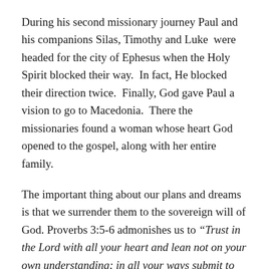During his second missionary journey Paul and his companions Silas, Timothy and Luke were headed for the city of Ephesus when the Holy Spirit blocked their way. In fact, He blocked their direction twice. Finally, God gave Paul a vision to go to Macedonia. There the missionaries found a woman whose heart God opened to the gospel, along with her entire family.
The important thing about our plans and dreams is that we surrender them to the sovereign will of God. Proverbs 3:5-6 admonishes us to “Trust in the Lord with all your heart and lean not on your own understanding; in all your ways submit to him, and he will make your paths straight.”  Are you allowing God to direct your steps?